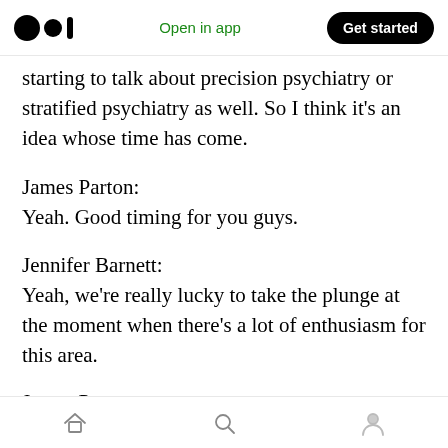Open in app | Get started
starting to talk about precision psychiatry or stratified psychiatry as well. So I think it’s an idea whose time has come.
James Parton:
Yeah. Good timing for you guys.
Jennifer Barnett:
Yeah, we’re really lucky to take the plunge at the moment when there’s a lot of enthusiasm for this area.
James Parton:
With that in mind, the — what kind of future is the…
Home | Search | Profile